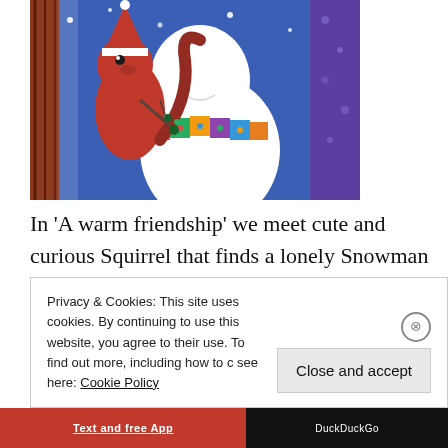[Figure (illustration): Illustrated children's book style image of a red squirrel wearing a Santa hat embracing a white snowman wearing a colorful patchwork scarf, set against a blue snowy winter background with stylized trees]
In 'A warm friendship' we meet cute and curious Squirrel that finds a lonely Snowman who's shaking and shivering in the cold. She comes up with a plan to help him. Not only
Privacy & Cookies: This site uses cookies. By continuing to use this website, you agree to their use. To find out more, including how to c… see here: Cookie Policy